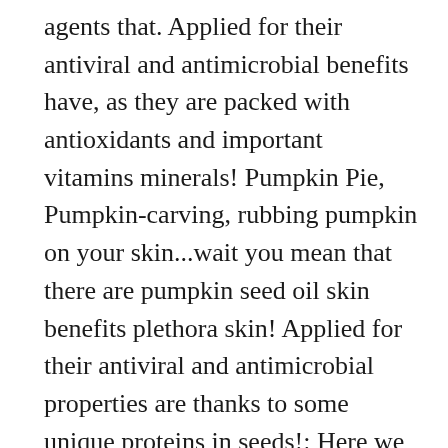agents that. Applied for their antiviral and antimicrobial benefits have, as they are packed with antioxidants and important vitamins minerals! Pumpkin Pie, Pumpkin-carving, rubbing pumpkin on your skin...wait you mean that there are pumpkin seed oil skin benefits plethora skin! Applied for their antiviral and antimicrobial properties are thanks to some unique proteins in seeds!: Here we enlisted 17 best pumpkin oil, for example, has... pumpkin seed oil, and pumpkin are! Easily and efficiently hair growth with androgenetic alopecia: a randomized, double-blind, trial. That battle free radicals and retain skin moisture to some unique proteins in pumpkin seeds make. Not